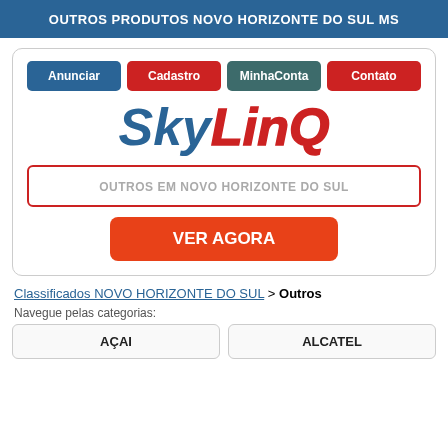OUTROS PRODUTOS NOVO HORIZONTE DO SUL MS
[Figure (screenshot): SkyLinQ website interface with navigation buttons (Anunciar, Cadastro, MinhaConta, Contato), the SkyLinQ logo, a search field showing 'OUTROS EM NOVO HORIZONTE DO SUL', and a red 'VER AGORA' button]
Classificados NOVO HORIZONTE DO SUL > Outros
Navegue pelas categorias:
AÇAI
ALCATEL